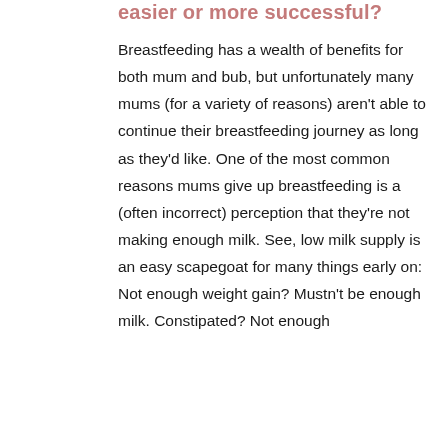easier or more successful?
Breastfeeding has a wealth of benefits for both mum and bub, but unfortunately many mums (for a variety of reasons) aren't able to continue their breastfeeding journey as long as they'd like. One of the most common reasons mums give up breastfeeding is a (often incorrect) perception that they're not making enough milk. See, low milk supply is an easy scapegoat for many things early on: Not enough weight gain? Mustn't be enough milk. Constipated? Not enough milk. Mastitis? Too much...